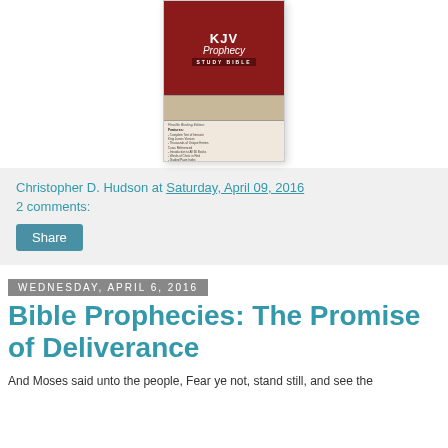[Figure (photo): Book cover of KJV Prophecy Study Bible, flexible binding edition, dark red and tan cover]
Christopher D. Hudson at Saturday, April 09, 2016
2 comments:
Share
Wednesday, April 6, 2016
Bible Prophecies: The Promise of Deliverance
And Moses said unto the people, Fear ye not, stand still, and see the